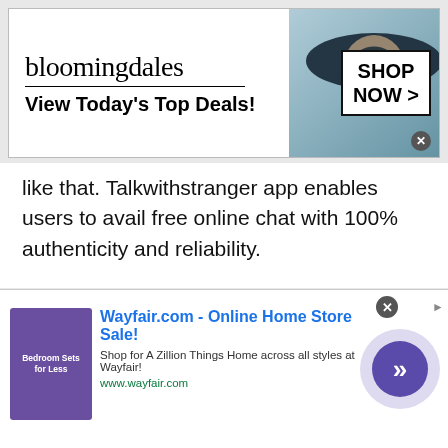[Figure (screenshot): Bloomingdale's advertisement banner: logo text 'bloomingdales', tagline 'View Today's Top Deals!', woman with dark hat photo, 'SHOP NOW >' button box]
like that. Talkwithstranger app enables users to avail free online chat with 100% authenticity and reliability.

What do you think isn't fun to start a live chat and talk to strangers in Tanzania, United Republic of ? Well, absolutely it is great fun to talk to strangers in Tanzania, United Republic of without going anywhere. All you need your phone, a good internet connection and of course your nickname to talk to
[Figure (screenshot): Wayfair.com advertisement: 'Wayfair.com - Online Home Store Sale!' with purple bedroom image, description text and green URL www.wayfair.com, circular arrow button]